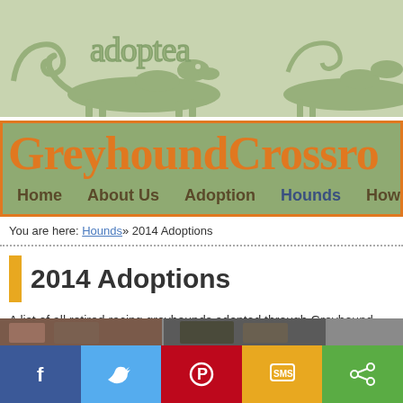[Figure (illustration): Greyhound Crossroads website banner showing decorative greyhound dog silhouettes in olive/sage green tones on a light sage background]
Greyhound Crossroads
Home   About Us   Adoption   Hounds   How to
You are here: Hounds» 2014 Adoptions
2014 Adoptions
A list of all retired racing greyhounds adopted through Greyhound Crossroads in
[Figure (photo): Partial photo strip showing greyhound dogs]
Social share buttons: Facebook, Twitter, Pinterest, SMS, Share